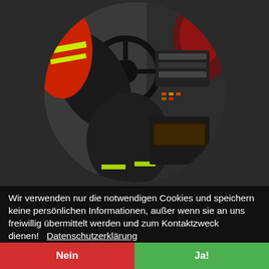[Figure (photo): Circular cropped photo of a firefighter in red and yellow high-visibility jacket sitting in the driver seat of a fire truck, gripping the steering wheel. Vehicle dashboard and controls visible on the right.]
ENTDECK JESUS IN DEINEM A...
MONATSIMPULS - 01/2022
Wir verwenden nur die notwendigen Cookies und speichern keine persönlichen Informationen, außer wenn sie an uns freiwillig übermittelt werden und zum Kontaktzweck dienen!    Datenschutzerklärung